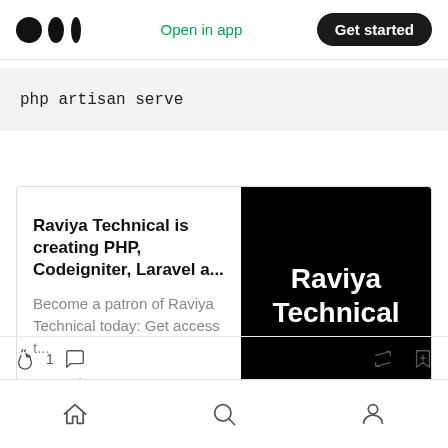Medium logo | Open in app | Get started
[Figure (screenshot): Link preview card for Raviya Technical Patreon page with black image on right showing 'Raviya Technical' text]
Bottom navigation bar with home, search, and profile icons